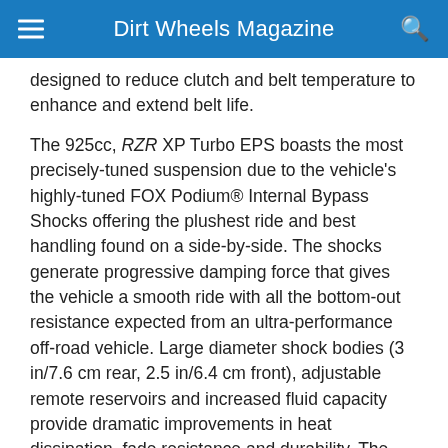Dirt Wheels Magazine
designed to reduce clutch and belt temperature to enhance and extend belt life.
The 925cc, RZR XP Turbo EPS boasts the most precisely-tuned suspension due to the vehicle's highly-tuned FOX Podium® Internal Bypass Shocks offering the plushest ride and best handling found on a side-by-side. The shocks generate progressive damping force that gives the vehicle a smooth ride with all the bottom-out resistance expected from an ultra-performance off-road vehicle. Large diameter shock bodies (3 in/7.6 cm rear, 2.5 in/6.4 cm front), adjustable remote reservoirs and increased fluid capacity provide dramatic improvements in heat dissipation, fade resistance and durability. The internal bypass technology uses five compression zones to provide progressive damping as the shock gently absorbs bumps and stiffens to prevent bottoming. Combine that with three zones of rebound damping to minimize pitching and harsh top out to give you an ultra-plush ride and better handling over a wider range of terrain at any speed.